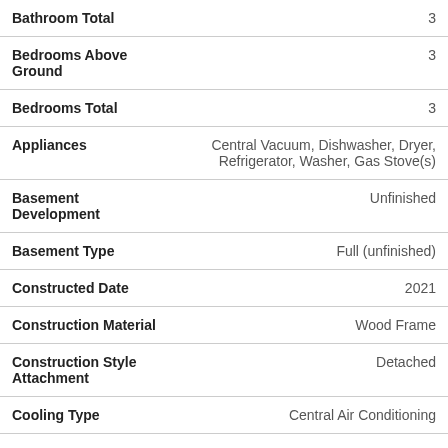| Field | Value |
| --- | --- |
| Bathroom Total | 3 |
| Bedrooms Above Ground | 3 |
| Bedrooms Total | 3 |
| Appliances | Central Vacuum, Dishwasher, Dryer, Refrigerator, Washer, Gas Stove(s) |
| Basement Development | Unfinished |
| Basement Type | Full (unfinished) |
| Constructed Date | 2021 |
| Construction Material | Wood Frame |
| Construction Style Attachment | Detached |
| Cooling Type | Central Air Conditioning |